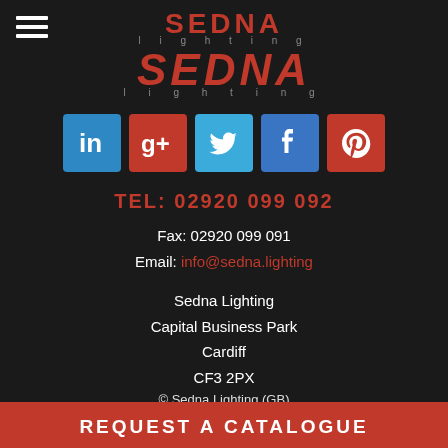[Figure (logo): Sedna Lighting logo — 'SEDNA lighting' in red with italic larger version below, on dark background]
[Figure (infographic): Row of 5 social media icon buttons: LinkedIn (blue), Google+ (red), Twitter (blue), Facebook (blue), Pinterest (red)]
TEL: 02920 099 092
Fax: 02920 099 091
Email: info@sedna.lighting
Sedna Lighting
Capital Business Park
Cardiff
CF3 2PX
© Sedna Lighting (GB)
REQUEST A CATALOGUE